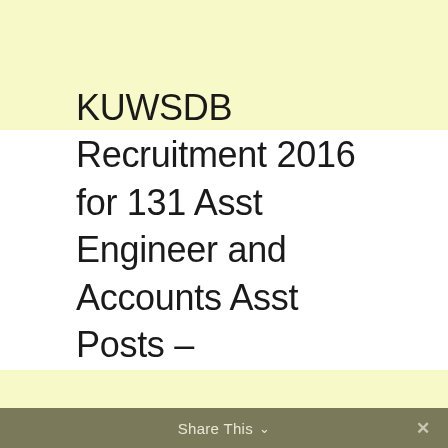KUWSDB Recruitment 2016 for 131 Asst Engineer and Accounts Asst Posts – www.kuwsdb.org
Share This ∨  ✕